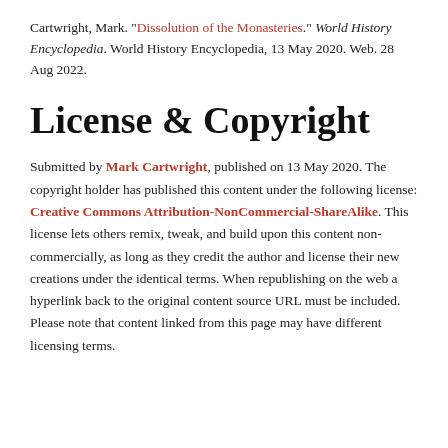Cartwright, Mark. "Dissolution of the Monasteries." World History Encyclopedia. World History Encyclopedia, 13 May 2020. Web. 28 Aug 2022.
License & Copyright
Submitted by Mark Cartwright, published on 13 May 2020. The copyright holder has published this content under the following license: Creative Commons Attribution-NonCommercial-ShareAlike. This license lets others remix, tweak, and build upon this content non-commercially, as long as they credit the author and license their new creations under the identical terms. When republishing on the web a hyperlink back to the original content source URL must be included. Please note that content linked from this page may have different licensing terms.